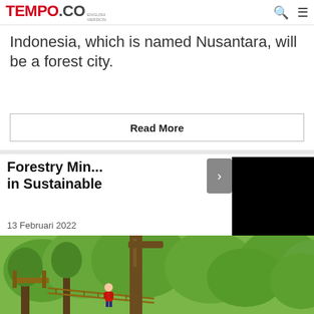TEMPO.CO ENGLISH VERSION
Indonesia, which is named Nusantara, will be a forest city.
Read More
Forestry Min... in Sustainable
13 Februari 2022
[Figure (photo): A person in a red shirt standing on a rope bridge in a forest canopy walkway, with green trees in the background.]